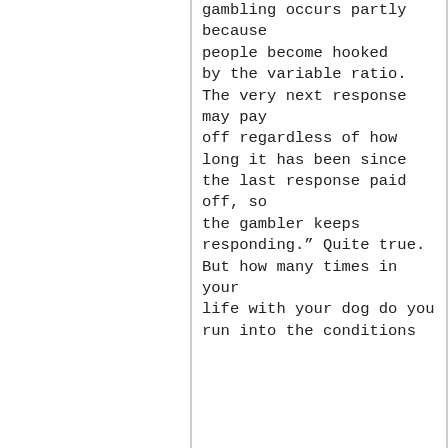gambling occurs partly because people become hooked by the variable ratio. The very next response may pay off regardless of how long it has been since the last response paid off, so the gambler keeps responding." Quite true. But how many times in your life with your dog do you run into the conditions